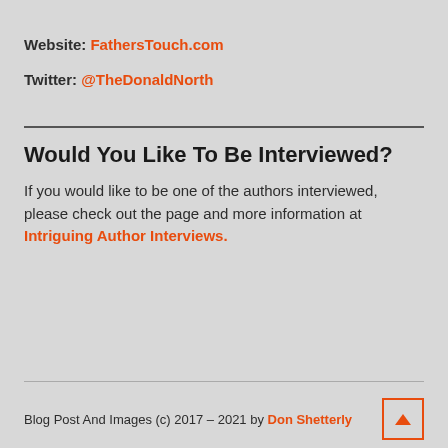Website: FathersTouch.com
Twitter: @TheDonaldNorth
Would You Like To Be Interviewed?
If you would like to be one of the authors interviewed, please check out the page and more information at Intriguing Author Interviews.
Blog Post And Images (c) 2017 – 2021 by Don Shetterly